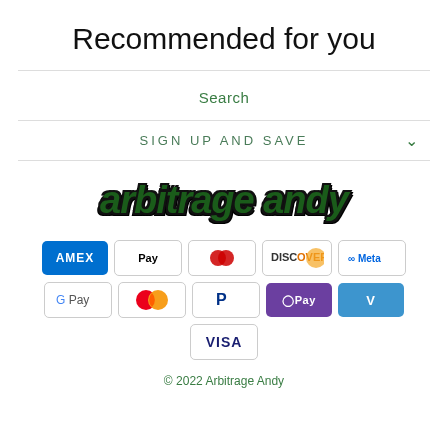Recommended for you
Search
SIGN UP AND SAVE
[Figure (logo): arbitrage andy logo in dark green italic bold script font with black outline/shadow]
[Figure (infographic): Payment method icons: AMEX, Apple Pay, Diners, Discover, Meta, Google Pay, Mastercard, PayPal, OPay, Venmo, Visa]
© 2022 Arbitrage Andy